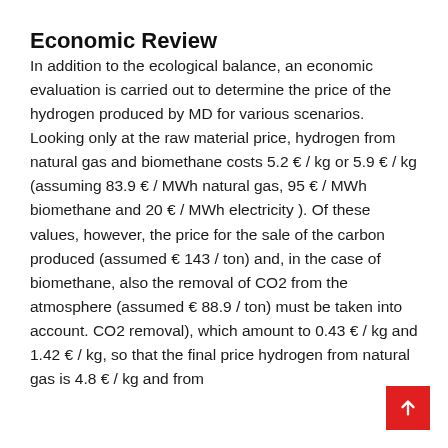Economic Review
In addition to the ecological balance, an economic evaluation is carried out to determine the price of the hydrogen produced by MD for various scenarios. Looking only at the raw material price, hydrogen from natural gas and biomethane costs 5.2 € / kg or 5.9 € / kg (assuming 83.9 € / MWh natural gas, 95 € / MWh biomethane and 20 € / MWh electricity ). Of these values, however, the price for the sale of the carbon produced (assumed € 143 / ton) and, in the case of biomethane, also the removal of CO2 from the atmosphere (assumed € 88.9 / ton) must be taken into account. CO2 removal), which amount to 0.43 € / kg and 1.42 € / kg, so that the final price hydrogen from natural gas is 4.8 € / kg and from